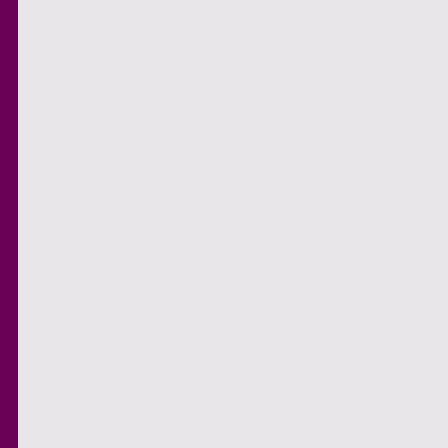by Kate Jarvik Birch!
Blog Tour Kick-Off: Breaking Fences by Juliana Hay...
Blog Tour Kick-Off: Heart Shaped Rock by Laura Roppe!
Blog Tour Kick-Off: Carnelian by D...